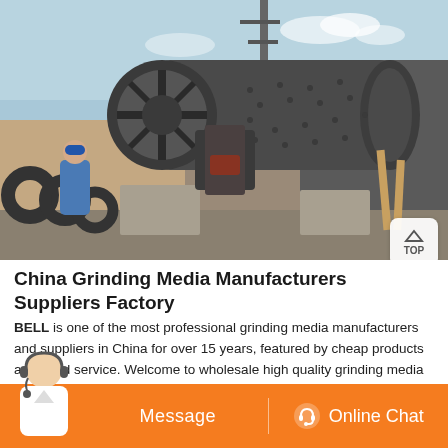[Figure (photo): Industrial ball mill machine photographed outdoors at a factory/manufacturing site. Large cylindrical rotating drum mill on concrete supports, with workers visible in background. Industrial equipment including pipes and structures visible.]
China Grinding Media Manufacturers Suppliers Factory
BELL is one of the most professional grinding media manufacturers and suppliers in China for over 15 years, featured by cheap products and good service. Welcome to wholesale high quality grinding media at competitive price from our factory.